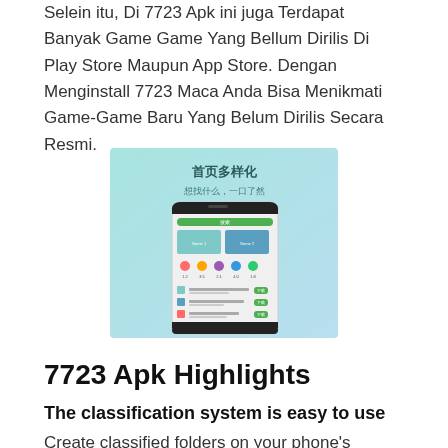Selein itu, Di 7723 Apk ini juga Terdapat Banyak Game Game Yang Bellum Dirilis Di Play Store Maupun App Store. Dengan Menginstall 7723 Maca Anda Bisa Menikmati Game-Game Baru Yang Belum Dirilis Secara Resmi.
[Figure (screenshot): Screenshot of the 7723 Apk app interface showing a Chinese app store homepage with the text 首页多样化 (diverse homepage) and 想找什么，一口了然 (find what you want at a glance), displaying game thumbnails and category icons on a smartphone mockup with a teal/mint gradient background.]
7723 Apk Highlights
The classification system is easy to use
Create classified folders on your phone's homepage by automatically...